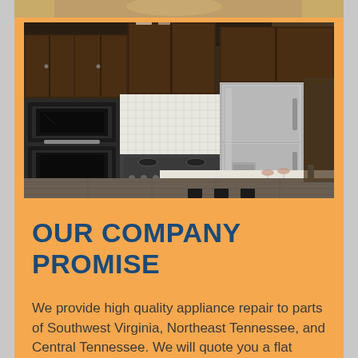[Figure (photo): Partial view of a kitchen image cropped at the top of the page]
[Figure (photo): Kitchen interior showing dark wood cabinets, stainless steel appliances including a double wall oven, large refrigerator, and a kitchen island with marble countertop and stemware]
OUR COMPANY PROMISE
We provide high quality appliance repair to parts of Southwest Virginia, Northeast Tennessee, and Central Tennessee. We will quote you a flat